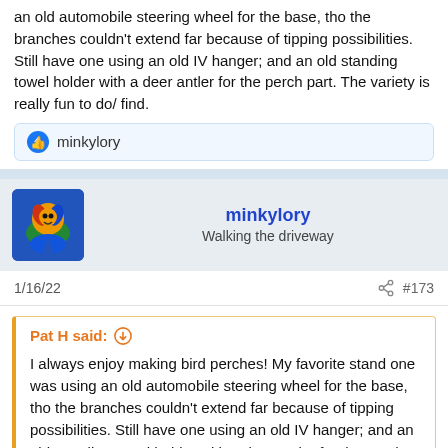an old automobile steering wheel for the base, tho the branches couldn't extend far because of tipping possibilities. Still have one using an old IV hanger; and an old standing towel holder with a deer antler for the perch part. The variety is really fun to do/ find.
minkylory
minkylory
Walking the driveway
1/16/22	#173
Pat H said:
I always enjoy making bird perches! My favorite stand one was using an old automobile steering wheel for the base, tho the branches couldn't extend far because of tipping possibilities. Still have one using an old IV hanger; and an old standing towel holder with a deer antler for the perch part. The variety is really fun to do/ find.